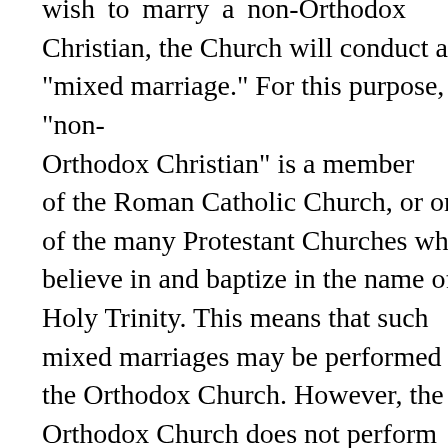wish to marry a non-Orthodox Christian, the Church will conduct a "mixed marriage." For this purpose, a "non-Orthodox Christian" is a member of the Roman Catholic Church, or one of the many Protestant Churches which believe in and baptize in the name of the Holy Trinity. This means that such mixed marriages may be performed in the Orthodox Church. However, the Orthodox Church does not perform marriages between Orthodox Christians and persons belonging to other religions, such as Islam , Judaism, Buddhism, Hinduism, or any sectarian and cult group, such as Christian Science, Mormonism, or the followers of Rev. Moon. (The Stand of the Orthodox Church on Controversial